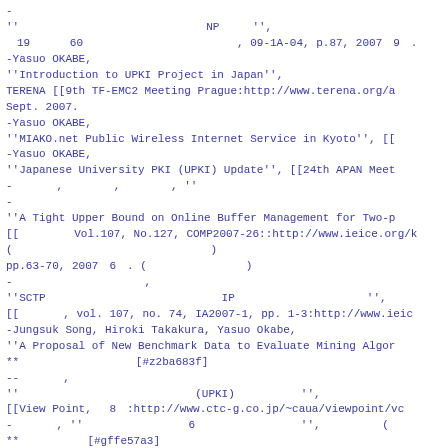-　　　　　　　　　　　　
''　　　　　　　　　　　　　　　　　NP　　　'',
　19　　　60　　　　　　　　　　　　　　, 09-1A-04, p.87, 2007　9　.　　　　　
-Yasuo OKABE,
''Introduction to UPKI Project in Japan'',
TERENA [[9th TF-EMC2 Meeting Prague:http://www.terena.org/a
Sept. 2007.
-Yasuo OKABE,
''MIAKO.net Public Wireless Internet Service in Kyoto'', [[
-Yasuo OKABE,
''Japanese University PKI (UPKI) Update'', [[24th APAN Meet
-　　　　, 　　　　, 　　　　, ''　　　　　　　　　　　　　　　　　　　　　　　　　　　　　　　'',
-　　　　　　　　　　　　
''A Tight Upper Bound on Online Buffer Management for Two-p
[[　　　　　Vol.107, No.127, COMP2007-26::http://www.ieice.org/k
(　　　　　　　　　　　　　　　　　　)
pp.63-70, 2007　6　. (　　　　　　　　　)
-　　　　　　　　　　　　,
''SCTP　　　　　　　　　　　　　　　　IP　　　　　　　　　　　　'',
[[　　　　, vol. 107, no. 74, IA2007-1, pp. 1-3:http://www.ieic
-Jungsuk Song, Hiroki Takakura, Yasuo Okabe,
''A Proposal of New Benchmark Data to Evaluate Mining Algori
**　　　　　　　　　　 [#z2ba683f]
--　　　　,
''　　　　　　　　　　　　　　　　(UPKI)　　　　　　'',
[[View Point, 　8　:http://www.ctc-g.co.jp/~caua/viewpoint/vc
-　　　　, ''　　　　　　　　 　6　 　　　　　　　　'', 　　　　　(　　　　　), pp. 49-54,
** 　　　　　 [#gffe57a3]
-R. Stewart, Q. Xie, M. Tuexen, S. Maruyama, M. Kozuka, ''[